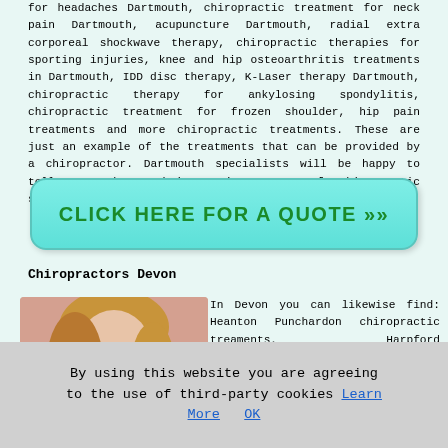for headaches Dartmouth, chiropractic treatment for neck pain Dartmouth, acupuncture Dartmouth, radial extra corporeal shockwave therapy, chiropractic therapies for sporting injuries, knee and hip osteoarthritis treatments in Dartmouth, IDD disc therapy, K-Laser therapy Dartmouth, chiropractic therapy for ankylosing spondylitis, chiropractic treatment for frozen shoulder, hip pain treatments and more chiropractic treatments. These are just an example of the treatments that can be provided by a chiropractor. Dartmouth specialists will be happy to tell you about their entire range of chiropractic services.
[Figure (other): Teal/aqua rounded button with bold green uppercase text: CLICK HERE FOR A QUOTE >>]
Chiropractors Devon
[Figure (photo): Photo of a woman with blonde hair touching/holding her neck in pain]
In Devon you can likewise find: Heanton Punchardon chiropractic treaments, Harpford chiropractors, Dunkeswell chiropractic treaments, Stokenham chiropractic treaments,
By using this website you are agreeing to the use of third-party cookies Learn More  OK